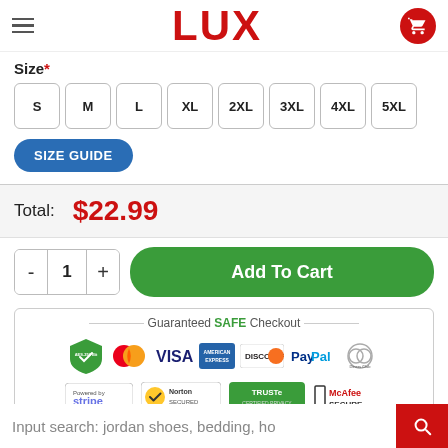LUX
Size*
S  M  L  XL  2XL  3XL  4XL  5XL
SIZE GUIDE
Total: $22.99
- 1 +  Add To Cart
[Figure (infographic): Guaranteed SAFE Checkout section with payment logos: AES-256 Bit, Mastercard, VISA, American Express, Discover, PayPal, Diners Club International, Stripe, Norton Secured, TRUSTe Certified Privacy, McAfee Secure]
Input search: jordan shoes, bedding, ho...